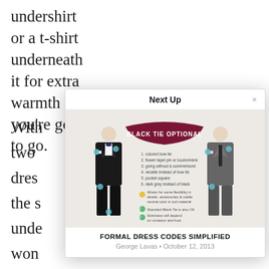undershirt or a t-shirt underneath it for extra warmth and you're good to go.
With two dres the s unde won from
A sca
I was nigh som
Next Up
[Figure (infographic): Infographic showing two men in formal wear with text BLACK TIE OPTIONAL and a list of dress code variations including: 1. colored bow tie, 2. flower lapel pin or boutonniere, 3. going without a cummerbund, 4. necktie instead of bow tie, 5. pocket square, 6. dark grey instead of black. Also notes: Allows for some flexibility in details, accessories & subtle neutral color in suit material. Standard Black Tie is also OK. Strictness will depend on occasion and host.]
FORMAL DRESS CODES SIMPLIFIED
George Lavas • October 12, 2013